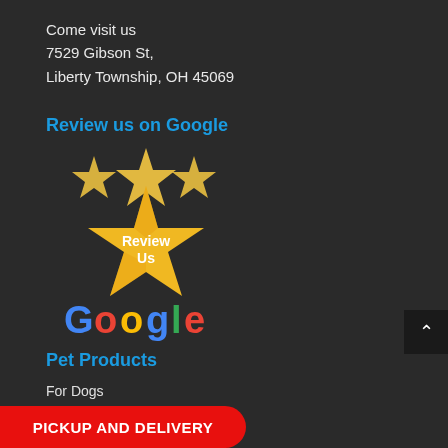Come visit us
7529 Gibson St,
Liberty Township, OH 45069
Review us on Google
[Figure (logo): Google Review Us badge with golden stars and Google logo text]
Pet Products
For Dogs
For Cats
PICKUP AND DELIVERY